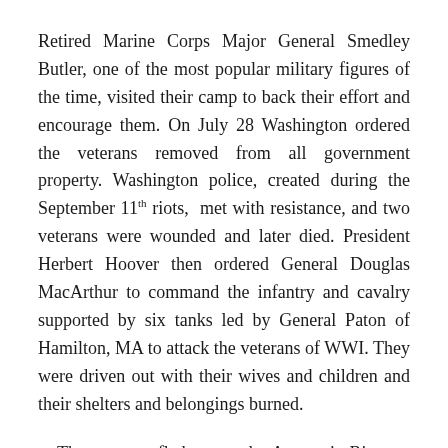Retired Marine Corps Major General Smedley Butler, one of the most popular military figures of the time, visited their camp to back their effort and encourage them. On July 28 Washington ordered the veterans removed from all government property. Washington police, created during the September 11th riots, met with resistance, and two veterans were wounded and later died. President Herbert Hoover then ordered General Douglas MacArthur to command the infantry and cavalry supported by six tanks led by General Paton of Hamilton, MA to attack the veterans of WWI. They were driven out with their wives and children and their shelters and belongings burned.
The veterans fled across the Anacostia River to their largest camp, and President Herbert Hoover called an end to it. MacArthur ignored him, and